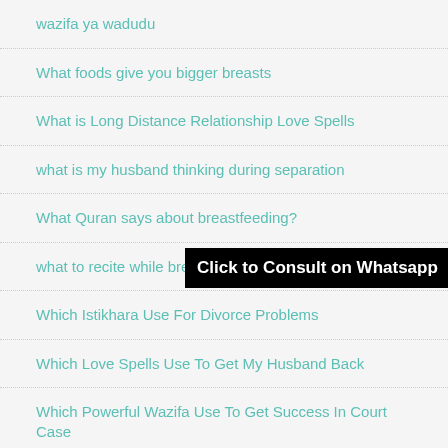wazifa ya wadudu
What foods give you bigger breasts
What is Long Distance Relationship Love Spells
what is my husband thinking during separation
What Quran says about breastfeeding?
what to recite while breastfeeding
Which Istikhara Use For Divorce Problems
Which Love Spells Use To Get My Husband Back
Which Powerful Wazifa Use To Get Success In Court Case
Which Quranic Verses Use For Love
Click to Consult on Whatsapp